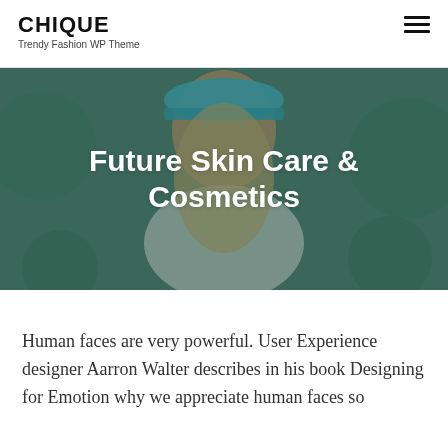CHIQUE
Trendy Fashion WP Theme
[Figure (photo): Hero banner image of a woman wearing a blue knitted hat and turquoise necklace, overlaid with teal circular shapes and dark teal background tint. Bold white text reads 'Future Skin Care & Cosmetics'.]
Future Skin Care & Cosmetics
Human faces are very powerful. User Experience designer Aarron Walter describes in his book Designing for Emotion why we appreciate human faces so